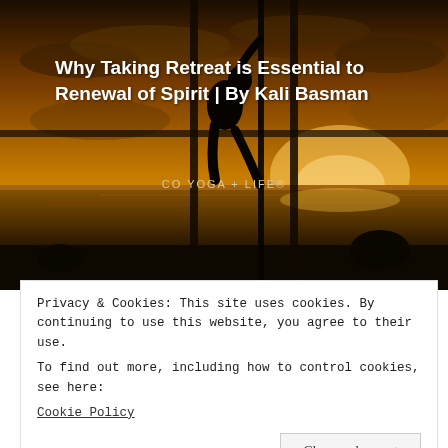[Figure (photo): Dark silhouette of a person in yoga pose against a golden sunset sky over water, framed by window panels. Text overlay includes article title and publication name with a 'VIEW POST' button.]
Why Taking Retreat is Essential to Renewal of Spirit | By Kali Basman
CO YOGA + Life®
VIEW POST
Privacy & Cookies: This site uses cookies. By continuing to use this website, you agree to their use.
To find out more, including how to control cookies, see here:
Cookie Policy
Close and accept
ARCHIVED POSTS!